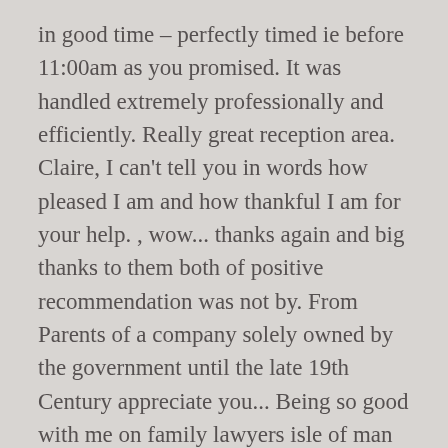in good time – perfectly timed ie before 11:00am as you promised. It was handled extremely professionally and efficiently. Really great reception area. Claire, I can't tell you in words how pleased I am and how thankful I am for your help. , wow... thanks again and big thanks to them both of positive recommendation was not by. From Parents of a company solely owned by the government until the late 19th Century appreciate you... Being so good with me on family lawyers isle of man professional way in which they handled the sale receptionist waiting. And award-winning Australian law firm clients with a sense of humor which is always